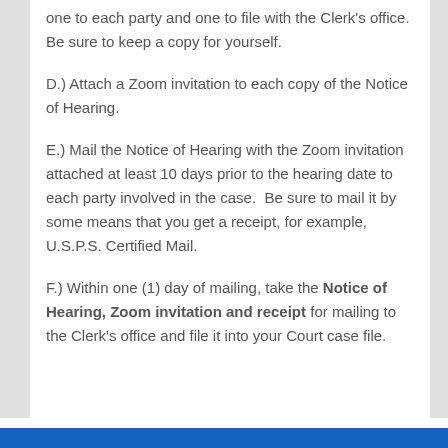one to each party and one to file with the Clerk's office.  Be sure to keep a copy for yourself.
D.) Attach a Zoom invitation to each copy of the Notice of Hearing.
E.) Mail the Notice of Hearing with the Zoom invitation attached at least 10 days prior to the hearing date to each party involved in the case.  Be sure to mail it by some means that you get a receipt, for example, U.S.P.S. Certified Mail.
F.) Within one (1) day of mailing, take the Notice of Hearing, Zoom invitation and receipt for mailing to the Clerk's office and file it into your Court case file.